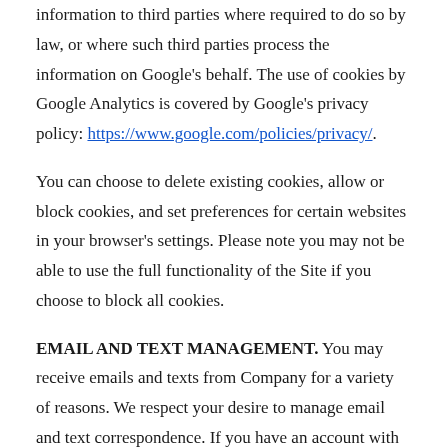information to third parties where required to do so by law, or where such third parties process the information on Google's behalf. The use of cookies by Google Analytics is covered by Google's privacy policy: https://www.google.com/policies/privacy/.
You can choose to delete existing cookies, allow or block cookies, and set preferences for certain websites in your browser's settings. Please note you may not be able to use the full functionality of the Site if you choose to block all cookies.
EMAIL AND TEXT MANAGEMENT. You may receive emails and texts from Company for a variety of reasons. We respect your desire to manage email and text correspondence. If you have an account with Company on the Site, you can